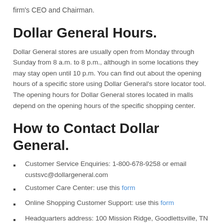firm's CEO and Chairman.
Dollar General Hours.
Dollar General stores are usually open from Monday through Sunday from 8 a.m. to 8 p.m., although in some locations they may stay open until 10 p.m. You can find out about the opening hours of a specific store using Dollar General's store locator tool. The opening hours for Dollar General stores located in malls depend on the opening hours of the specific shopping center.
How to Contact Dollar General.
Customer Service Enquiries: 1-800-678-9258 or email custsvc@dollargeneral.com
Customer Care Center: use this form
Online Shopping Customer Support: use this form
Headquarters address: 100 Mission Ridge, Goodlettsville, TN 37072, United States